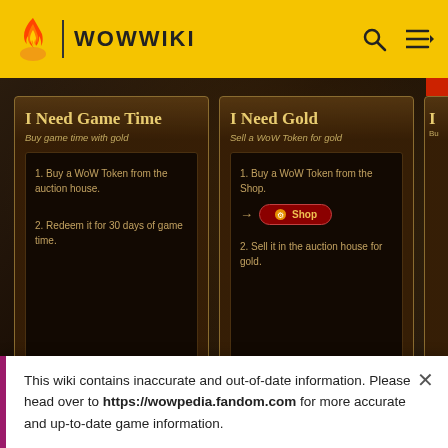WOWWIKI
[Figure (screenshot): WoW Token interface showing two cards: 'I Need Game Time' (Buy game time with gold) with steps: 1. Buy a WoW Token from the auction house. 2. Redeem it for 30 days of game time. And 'I Need Gold' (Sell a WoW Token for gold) with steps: 1. Buy a WoW Token from the Shop. [Shop button] 2. Sell it in the auction house for gold.]
WoW Token
WoWWiki
[Figure (photo): Partial view of a second in-game screenshot showing green foliage]
This wiki contains inaccurate and out-of-date information. Please head over to https://wowpedia.fandom.com for more accurate and up-to-date game information.